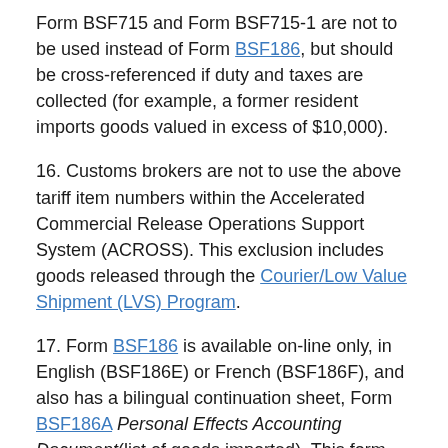Form BSF715 and Form BSF715-1 are not to be used instead of Form BSF186, but should be cross-referenced if duty and taxes are collected (for example, a former resident imports goods valued in excess of $10,000).
16. Customs brokers are not to use the above tariff item numbers within the Accelerated Commercial Release Operations Support System (ACROSS). This exclusion includes goods released through the Courier/Low Value Shipment (LVS) Program.
17. Form BSF186 is available on-line only, in English (BSF186E) or French (BSF186F), and also has a bilingual continuation sheet, Form BSF186A Personal Effects Accounting Document(list of goods imported). This form can be completed on-line by the traveller, in advance of arriving in Canada and presented to the border services officer or, it can be completed by the officer when the traveller arrives at their first CBSA POE in Canada.
18. Whether the traveller completes Form BSF186 at the